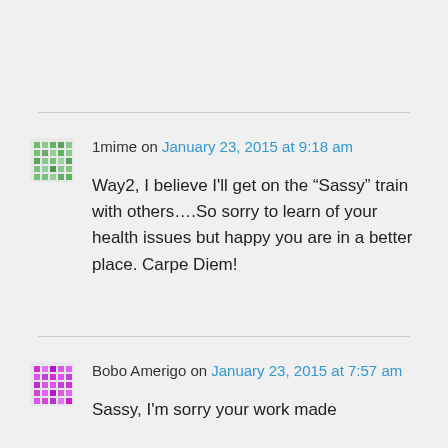1mime on January 23, 2015 at 9:18 am
Way2, I believe I'll get on the “Sassy” train with others….So sorry to learn of your health issues but happy you are in a better place. Carpe Diem!
Bobo Amerigo on January 23, 2015 at 7:57 am
Sassy, I'm sorry your work made